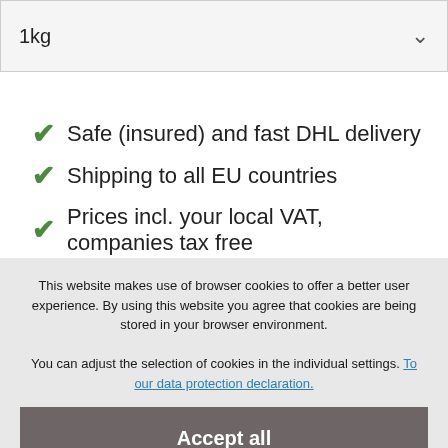1kg
Safe (insured) and fast DHL delivery
Shipping to all EU countries
Prices incl. your local VAT, companies tax free
This website makes use of browser cookies to offer a better user experience. By using this website you agree that cookies are being stored in your browser environment. You can adjust the selection of cookies in the individual settings. To our data protection declaration.
Accept all
Accept only technically necessary
Privacy Settings